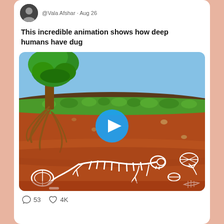@Vala Afshar · Aug 26
This incredible animation shows how deep humans have dug
[Figure (illustration): Animated cross-section illustration showing above-ground scene with a green tree on the left and blue sky, and below-ground layers of reddish-brown soil with tree roots, a dinosaur fossil skeleton, and various ancient fossils embedded in the dirt. A circular blue play button is overlaid in the center.]
53
4K